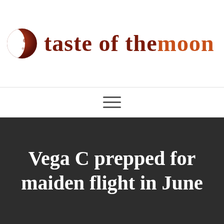[Figure (logo): Taste of the Moon website logo with a red moon graphic and bold serif text reading 'taste of the moon' in dark red and orange colors]
[Figure (other): Hamburger menu icon with three horizontal lines]
Vega C prepped for maiden flight in June